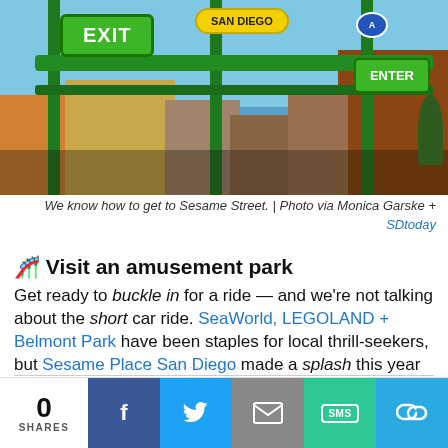[Figure (photo): Photo of Sesame Place San Diego entrance area with EXIT and ENTER signs on green metal structures, colorful amusement park setting with buildings in background and crowd of people.]
We know how to get to Sesame Street. | Photo via Monica Garske + SDtoday
🎢 Visit an amusement park
Get ready to buckle in for a ride — and we're not talking about the short car ride. SeaWorld, LEGOLAND + Belmont Park have been staples for local thrill-seekers, but Sesame Place San Diego made a splash this year with its debut in Chula Vista. Pack your swimsuits — water rides are all the rage there.
5 MORE FAMILY DAYCATIONS
0 SHARES